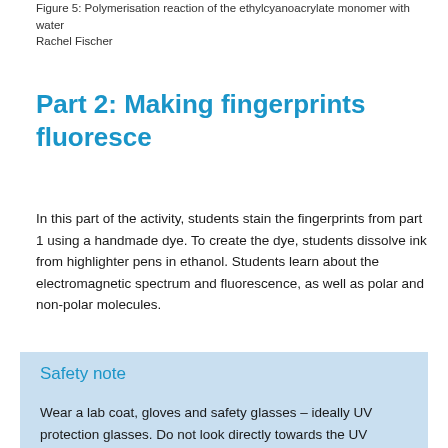Figure 5: Polymerisation reaction of the ethylcyanoacrylate monomer with water
Rachel Fischer
Part 2: Making fingerprints fluoresce
In this part of the activity, students stain the fingerprints from part 1 using a handmade dye. To create the dye, students dissolve ink from highlighter pens in ethanol. Students learn about the electromagnetic spectrum and fluorescence, as well as polar and non-polar molecules.
Safety note
Wear a lab coat, gloves and safety glasses – ideally UV protection glasses. Do not look directly towards the UV